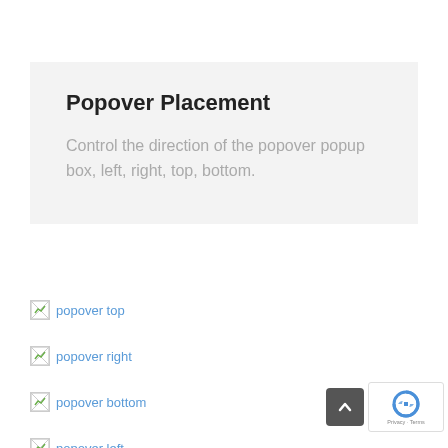Popover Placement
Control the direction of the popover popup box, left, right, top, bottom.
popover top
popover right
popover bottom
popover left